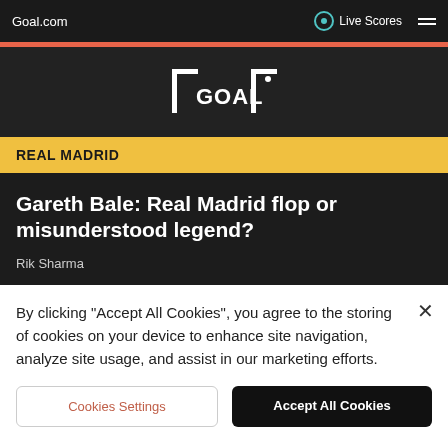Goal.com | Live Scores
[Figure (logo): GOAL logo in white on dark background — stylized goal post brackets with 'GOAL' text]
REAL MADRID
Gareth Bale: Real Madrid flop or misunderstood legend?
Rik Sharma
By clicking "Accept All Cookies", you agree to the storing of cookies on your device to enhance site navigation, analyze site usage, and assist in our marketing efforts.
Cookies Settings
Accept All Cookies